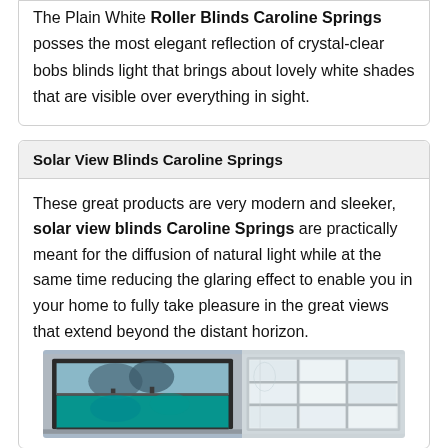The Plain White Roller Blinds Caroline Springs posses the most elegant reflection of crystal-clear bobs blinds light that brings about lovely white shades that are visible over everything in sight.
Solar View Blinds Caroline Springs
These great products are very modern and sleeker, solar view blinds Caroline Springs are practically meant for the diffusion of natural light while at the same time reducing the glaring effect to enable you in your home to fully take pleasure in the great views that extend beyond the distant horizon.
[Figure (photo): Two-panel image showing solar view blinds: left panel shows a roller blind installed on a window with a teal/aqua colored scene visible; right panel shows a grid-pattern window with diffused natural light coming through.]